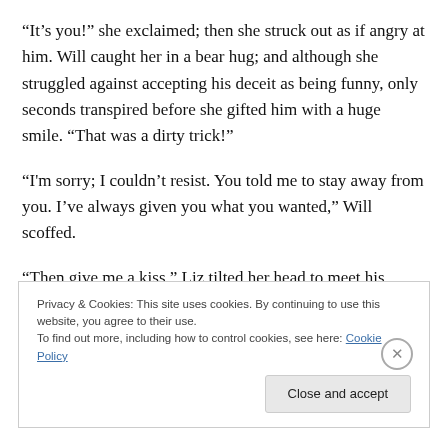“It’s you!” she exclaimed; then she struck out as if angry at him. Will caught her in a bear hug; and although she struggled against accepting his deceit as being funny, only seconds transpired before she gifted him with a huge smile. “That was a dirty trick!”
“I'm sorry; I couldn’t resist. You told me to stay away from you. I’ve always given you what you wanted,” Will scoffed.
“Then give me a kiss.” Liz tilted her head to meet his mouth. The kiss began innocent enough, but soon his
Privacy & Cookies: This site uses cookies. By continuing to use this website, you agree to their use.
To find out more, including how to control cookies, see here: Cookie Policy